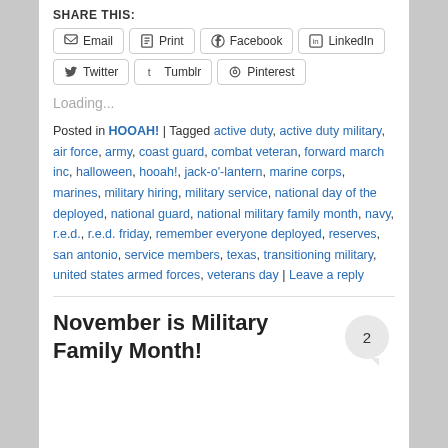SHARE THIS:
Email | Print | Facebook | LinkedIn | Twitter | Tumblr | Pinterest
Loading...
Posted in HOOAH! | Tagged active duty, active duty military, air force, army, coast guard, combat veteran, forward march inc, halloween, hooah!, jack-o'-lantern, marine corps, marines, military hiring, military service, national day of the deployed, national guard, national military family month, navy, r.e.d., r.e.d. friday, remember everyone deployed, reserves, san antonio, service members, texas, transitioning military, united states armed forces, veterans day | Leave a reply
November is Military Family Month!